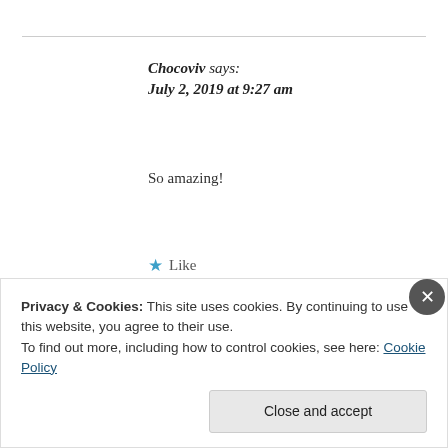Chocoviv says:
July 2, 2019 at 9:27 am
So amazing!
★ Like
Reply
Privacy & Cookies: This site uses cookies. By continuing to use this website, you agree to their use.
To find out more, including how to control cookies, see here: Cookie Policy
Close and accept